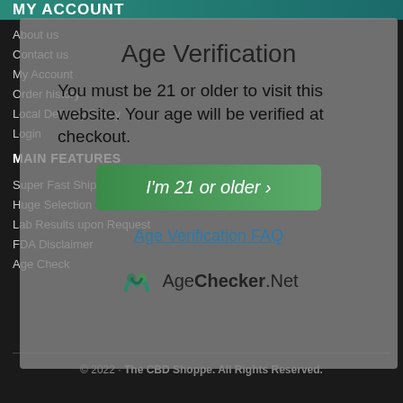MY ACCOUNT
About us
Contact us
My Account
Order history
Local Delivery Policy
Login
MAIN FEATURES
Super Fast Shipping
Huge Selection
Lab Results upon Request
FDA Disclaimer
Age Check
Age Verification
You must be 21 or older to visit this website. Your age will be verified at checkout.
I'm 21 or older »
Age Verification FAQ
[Figure (logo): AgeChecker.Net logo with stylized M icon in teal/green and text 'AgeChecker.Net']
© 2022 · The CBD Shoppe. All Rights Reserved.